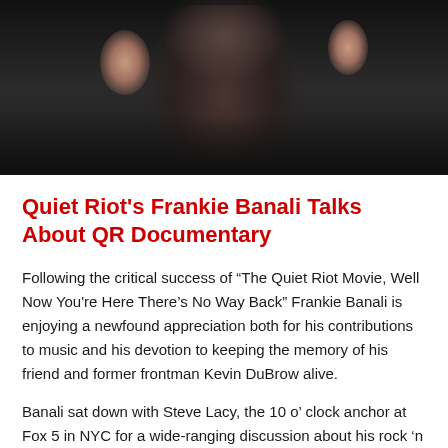[Figure (photo): Person in dark clothing making a rock hand gesture, wearing rings, with a necklace, dark background]
Quiet Riot's Frankie Banali Talks About QR Documentary
Following the critical success of “The Quiet Riot Movie, Well Now You're Here There’s No Way Back” Frankie Banali is enjoying a newfound appreciation both for his contributions to music and his devotion to keeping the memory of his friend and former frontman Kevin DuBrow alive.
Banali sat down with Steve Lacy, the 10 o’ clock anchor at Fox 5 in NYC for a wide-ranging discussion about his rock ‘n roll roots, drinking all night with Alex Van Halen before the US Festival and Kevin Dubrow’s brother, famous plastic surgeon